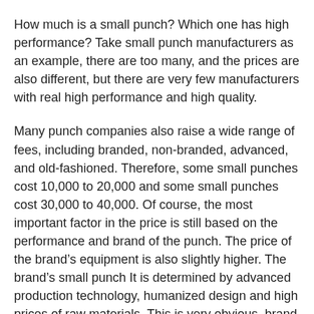How much is a small punch? Which one has high performance? Take small punch manufacturers as an example, there are too many, and the prices are also different, but there are very few manufacturers with real high performance and high quality.
Many punch companies also raise a wide range of fees, including branded, non-branded, advanced, and old-fashioned. Therefore, some small punches cost 10,000 to 20,000 and some small punches cost 30,000 to 40,000. Of course, the most important factor in the price is still based on the performance and brand of the punch. The price of the brand’s equipment is also slightly higher. The brand’s small punch It is determined by advanced production technology, humanized design and high prices of raw materials. This is very obvious, brand small punch equipment is definitely better than non-brand in terms of quality assurance, technical performance, energy saving and environmental protection.
At present, there are insufficient R&D and transformation technologies for punch presses of small enterprises. Many products produced by enterprises have defects, and the